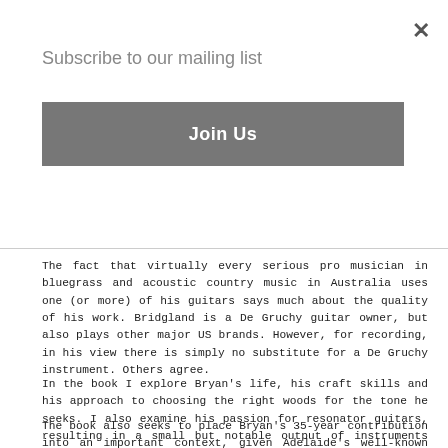Subscribe to our mailing list
Join Us
The fact that virtually every serious pro musician in bluegrass and acoustic country music in Australia uses one (or more) of his guitars says much about the quality of his work. Bridgland is a De Gruchy guitar owner, but also plays other major US brands. However, for recording, in his view there is simply no substitute for a De Gruchy instrument. Others agree.
In the book I explore Bryan's life, his craft skills and his approach to choosing the right woods for the tone he seeks. I also examine his passion for resonator guitars, resulting in a small but notable output of instruments that are, without question, the best hand-crafted resonators made in Australia today" Bridgland comments.
The book also seeks to place Bryan's 35-year contribution into an important context, given Adelaide's well-known trio of instrument makers: Alan Funk (banjos); John Liddy (mandolins) and Bryan De Gruchy (flat-top and resonator guitars. For a long place on the the logo to and black